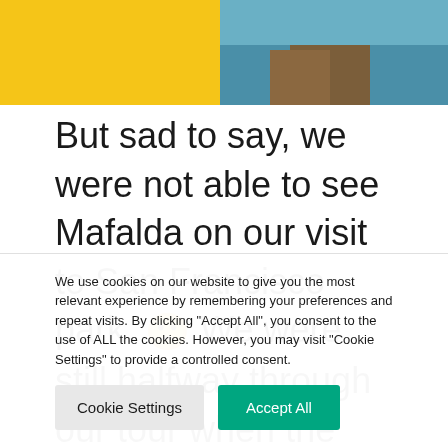[Figure (logo): Tripadvisor logo on yellow banner background with a photo of a pool/wooden deck in the upper right corner]
But sad to say, we were not able to see Mafalda on our visit to San Francisco park. 🙁 We were still halfway through our tour when the business partner of my husband
We use cookies on our website to give you the most relevant experience by remembering your preferences and repeat visits. By clicking "Accept All", you consent to the use of ALL the cookies. However, you may visit "Cookie Settings" to provide a controlled consent.